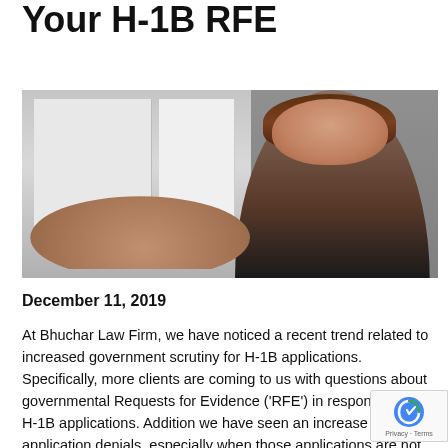Attorney Can Help With Your H-1B RFE
[Figure (photo): A woman in a black blazer and white shirt smiling, holding something small toward the camera with both hands, in an office setting with light-colored wall panels in the background.]
December 11, 2019
At Bhuchar Law Firm, we have noticed a recent trend related to increased government scrutiny for H-1B applications. Specifically, more clients are coming to us with questions about governmental Requests for Evidence ('RFE') in response to their H-1B applications. Additionally, we have seen an increase in H-1B application denials, especially when those applications are not prepared with the help of an immigration attorney.